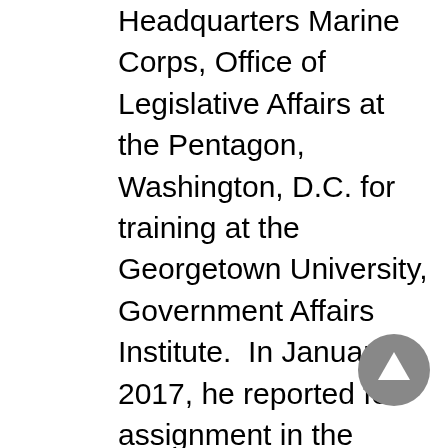Headquarters Marine Corps, Office of Legislative Affairs at the Pentagon, Washington, D.C. for training at the Georgetown University, Government Affairs Institute.  In January 2017, he reported for assignment in the Office of United States Senator Joe Manchin, where he served as the Congressional Defense Fellow for Defense, Veteran's Affairs, and Foreign Affairs matters.  In January 2018, Lieutenant Colonel Lambert returned to the Pentagon and was assigned as the Staff Secretary for the Deputy Commandant for Installations and Logistics (DC I&L).  In January 2019, he was selected to serve as the Aide-de-Camp for DC I&L.

In July 2019, Lieutenant Colonel Lambert
[Figure (other): Gray circular navigation/scroll-to-top button with a white upward-pointing arrow]